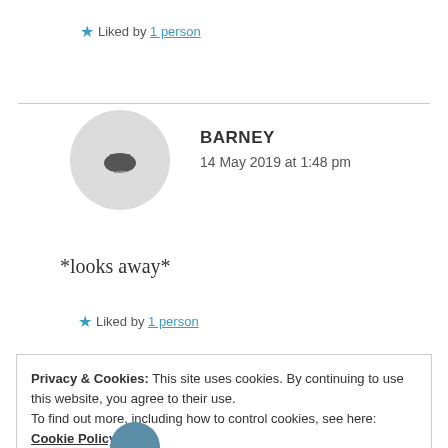★ Liked by 1 person
BARNEY
14 May 2019 at 1:48 pm
[Figure (illustration): Circular avatar with light gray background showing a small dark cloud/character icon]
*looks away*
★ Liked by 1 person
Privacy & Cookies: This site uses cookies. By continuing to use this website, you agree to their use.
To find out more, including how to control cookies, see here: Cookie Policy
Close and accept